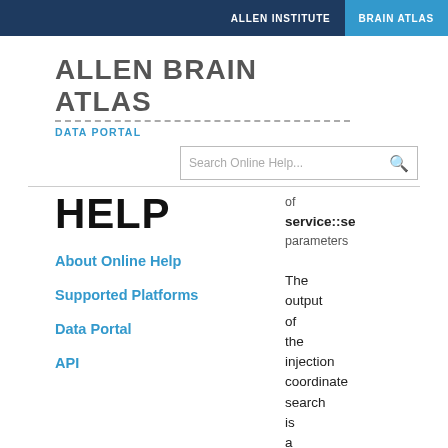ALLEN INSTITUTE   BRAIN ATLAS
ALLEN BRAIN ATLAS
DATA PORTAL
Search Online Help...
HELP
About Online Help
Supported Platforms
Data Portal
API
of service::se parameters The output of the injection coordinate search is a xml